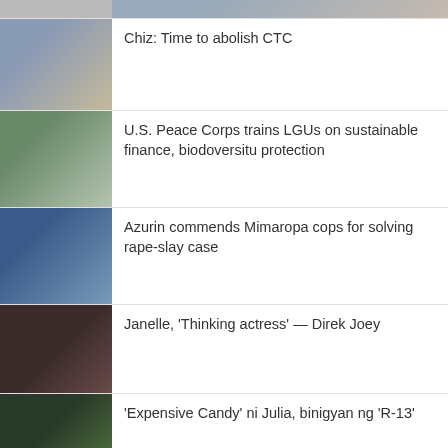[Figure (photo): Partial top image, cropped]
Chiz: Time to abolish CTC
U.S. Peace Corps trains LGUs on sustainable finance, biodoversitu protection
Azurin commends Mimaropa cops for solving rape-slay case
Janelle, 'Thinking actress' — Direk Joey
'Expensive Candy' ni Julia, binigyan ng 'R-13'